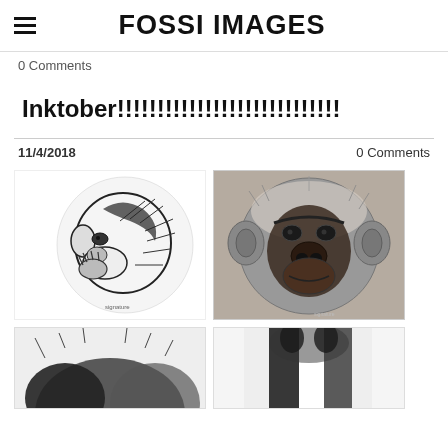FOSSI IMAGES
0 Comments
Inktober!!!!!!!!!!!!!!!!!!!!!!!!!!!
11/4/2018    0 Comments
[Figure (illustration): Ink drawing of a chimpanzee in profile facing left, black and white comic/sketch style]
[Figure (illustration): Detailed realistic drawing of a chimpanzee face, sepia/grey toned background]
[Figure (illustration): Black and white illustration, partial view of animal, bottom left]
[Figure (illustration): Black and white illustration, partial view of animal, bottom right]